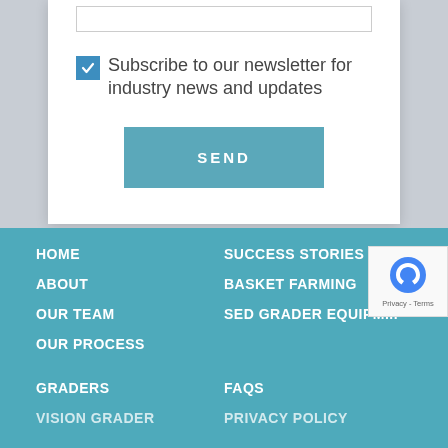[Figure (screenshot): Input text box (form field, empty)]
Subscribe to our newsletter for industry news and updates
SEND
HOME
ABOUT
OUR TEAM
OUR PROCESS
SUCCESS STORIES
BASKET FARMING
SED GRADER EQUIPM...
GRADERS
FAQS
VISION GRADER
PRIVACY POLICY